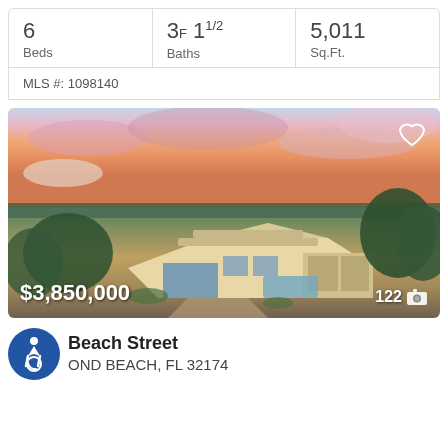| Beds | Baths | Sq.Ft. |
| --- | --- | --- |
| 6 | 3F 1½ | 5,011 |
MLS #: 1098140
[Figure (photo): Aerial sunset photo of a large luxury home with pool, surrounded by trees, overlooking water. Price overlay: $3,850,000. Photo count: 122.]
Beach Street
OND BEACH, FL 32174